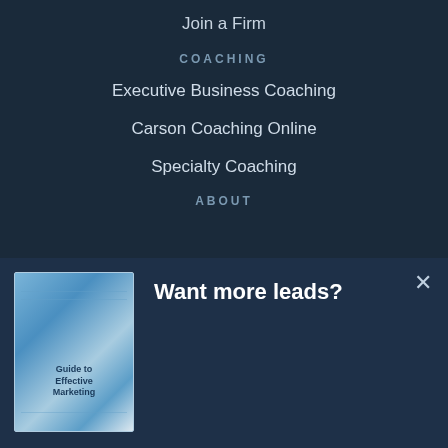Join a Firm
COACHING
Executive Business Coaching
Carson Coaching Online
Specialty Coaching
ABOUT
Want more leads?
[Figure (illustration): Book cover for 'Guide to Effective Marketing' with blue gradient design]
"The Advisor's Guide to Effective Marketing" is like an encyclopedia on how to attract new clients.
Download